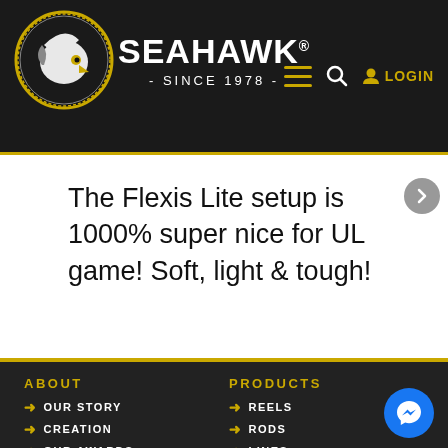[Figure (logo): Seahawk brand logo with eagle in circular emblem]
SEAHAWK® - SINCE 1978 -
The Flexis Lite setup is 1000% super nice for UL game! Soft, light & tough!
ABOUT
OUR STORY
CREATION
OUR AWARDS
SITEMAP
PRIVACY POLICY
PRODUCTS
REELS
RODS
LINES
LURES
TERMINAL TACKLES